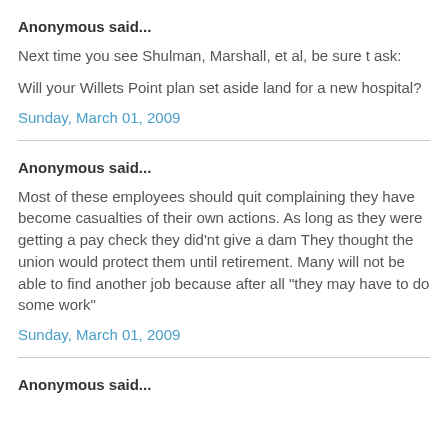Anonymous said...
Next time you see Shulman, Marshall, et al, be sure t ask:
Will your Willets Point plan set aside land for a new hospital?
Sunday, March 01, 2009
Anonymous said...
Most of these employees should quit complaining they have become casualties of their own actions. As long as they were getting a pay check they did'nt give a dam They thought the union would protect them until retirement. Many will not be able to find another job because after all "they may have to do some work"
Sunday, March 01, 2009
Anonymous said...